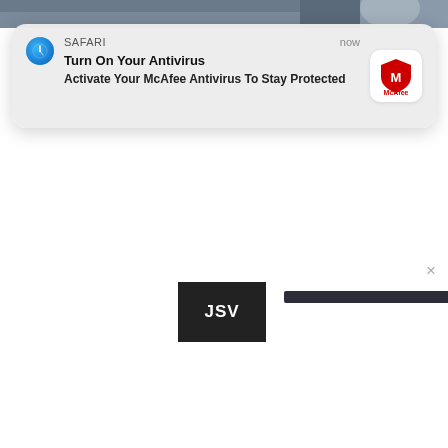[Figure (screenshot): Top portion of a webpage showing a partial news article image with person in background]
[Figure (screenshot): Safari push notification popup: 'Turn On Your Antivirus - Activate Your McAfee Antivirus To Stay Protected' with McAfee logo]
SAFARI
now
Turn On Your Antivirus
Activate Your McAfee Antivirus To Stay Protected
×
JSV